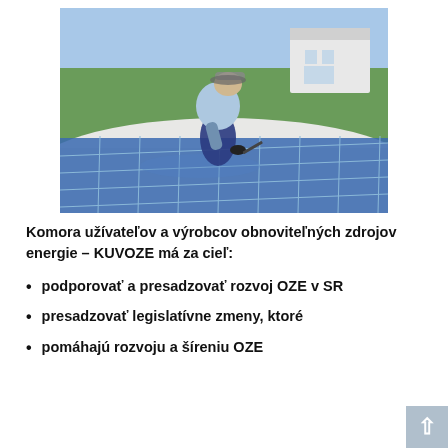[Figure (photo): A technician in a blue jacket and visor cap crouching on a rooftop, working on installing solar panels. In the background is blue sky, green trees, and a white building.]
Komora užívateľov a výrobcov obnoviteľných zdrojov energie – KUVOZE má za cieľ:
podporovať a presadzovať rozvoj OZE v SR
presadzovať legislatívne zmeny, ktoré
pomáhajú rozvoju a šíreniu OZE